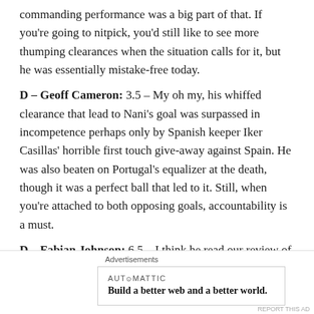commanding performance was a big part of that. If you're going to nitpick, you'd still like to see more thumping clearances when the situation calls for it, but he was essentially mistake-free today.
D – Geoff Cameron: 3.5 – My oh my, his whiffed clearance that lead to Nani's goal was surpassed in incompetence perhaps only by Spanish keeper Iker Casillas' horrible first touch give-away against Spain. He was also beaten on Portugal's equalizer at the death, though it was a perfect ball that led to it. Still, when you're attached to both opposing goals, accountability is a must.
D – Fabian Johnson: 6.5 – I think he read our review of the Ghana game. Got forward aggressively and caused…
Advertisements
AUTOMATTIC
Build a better web and a better world.